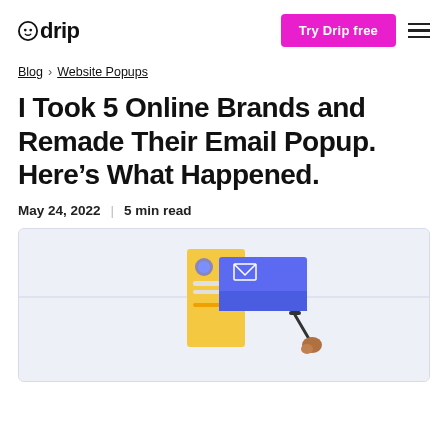drip | Try Drip free
Blog > Website Popups
I Took 5 Online Brands and Remade Their Email Popup. Here’s What Happened.
May 24, 2022 | 5 min read
[Figure (illustration): Illustration of a hand holding a paint roller painting a blue rectangle over a yellow card with an envelope/email popup design. Light purple/lavender background.]